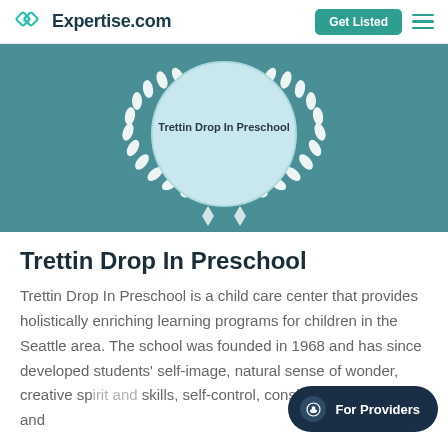Expertise.com
[Figure (logo): Trettin Drop In Preschool award badge with laurel wreath on teal background]
Trettin Drop In Preschool
Trettin Drop In Preschool is a child care center that provides holistically enriching learning programs for children in the Seattle area. The school was founded in 1968 and has since developed students' self-image, natural sense of wonder, creative sp... skills, self-control, consideration of others, and